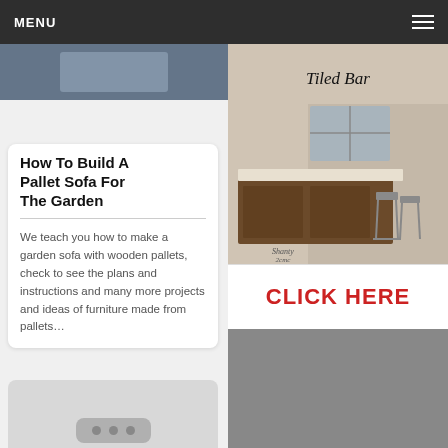MENU
[Figure (photo): Top image strip on left column, partial photo visible]
How To Build A Pallet Sofa For The Garden
We teach you how to make a garden sofa with wooden pallets, check to see the plans and instructions and many more projects and ideas of furniture made from pallets...
[Figure (other): Placeholder card with three dots icon]
[Figure (photo): Tiled Bar - outdoor wooden bar with metal stools against stone wall, text overlay reading 'Tiled Bar', Shanty 2 Chic watermark]
CLICK HERE